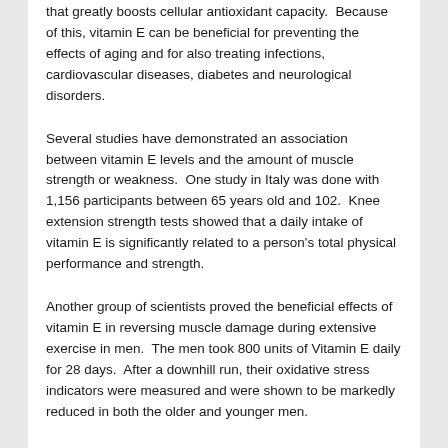that greatly boosts cellular antioxidant capacity.  Because of this, vitamin E can be beneficial for preventing the effects of aging and for also treating infections, cardiovascular diseases, diabetes and neurological disorders.
Several studies have demonstrated an association between vitamin E levels and the amount of muscle strength or weakness.  One study in Italy was done with 1,156 participants between 65 years old and 102.  Knee extension strength tests showed that a daily intake of vitamin E is significantly related to a person's total physical performance and strength.
Another group of scientists proved the beneficial effects of vitamin E in reversing muscle damage during extensive exercise in men.  The men took 800 units of Vitamin E daily for 28 days.  After a downhill run, their oxidative stress indicators were measured and were shown to be markedly reduced in both the older and younger men.
Vitamin E has many pathways by which it brings its